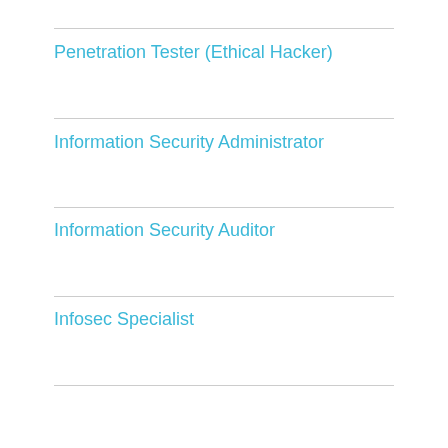Penetration Tester (Ethical Hacker)
Information Security Administrator
Information Security Auditor
Infosec Specialist
IT Security Engineer
Network Security Architect
Network Security Consultant
Industry Insights